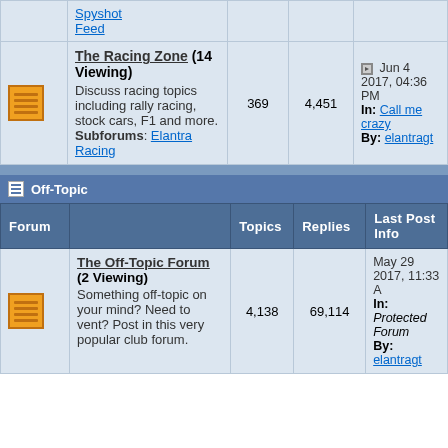|  | Forum | Topics | Replies | Last Post Info |
| --- | --- | --- | --- | --- |
| [icon] | Spyshot Feed |  |  |  |
| [icon] | The Racing Zone (14 Viewing) Discuss racing topics including rally racing, stock cars, F1 and more. Subforums: Elantra Racing | 369 | 4,451 | Jun 4 2017, 04:36 PM In: Call me crazy By: elantragt |
Off-Topic
|  | Forum | Topics | Replies | Last Post Info |
| --- | --- | --- | --- | --- |
| [icon] | The Off-Topic Forum (2 Viewing) Something off-topic on your mind? Need to vent? Post in this very popular club forum. | 4,138 | 69,114 | May 29 2017, 11:33 A In: Protected Forum By: elantragt |